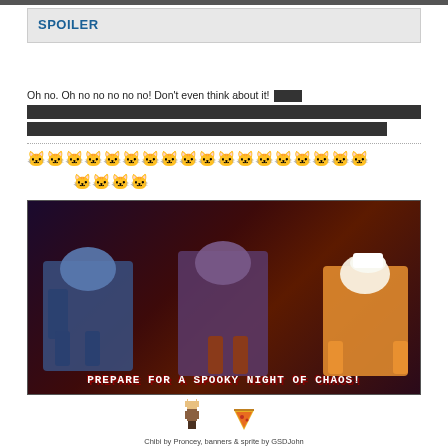SPOILER
Oh no. Oh no no no no no! Don't even think about it! [redacted]
[Figure (illustration): Row of pixel art cat/wolf emoji icons, approximately 20 icons in two rows]
[Figure (illustration): Digital artwork showing three anthropomorphic characters (a blue wolf/robot, a purple wolf with bat wings, and an orange/white dog in chef attire) against a dark spooky background with a red moon. Text at bottom reads 'PREPARE FOR A SPOOKY NIGHT OF CHAOS!']
[Figure (illustration): Pixel art chibi character with pizza slice]
Chibi by Proncey, banners & sprite by GSDJohn